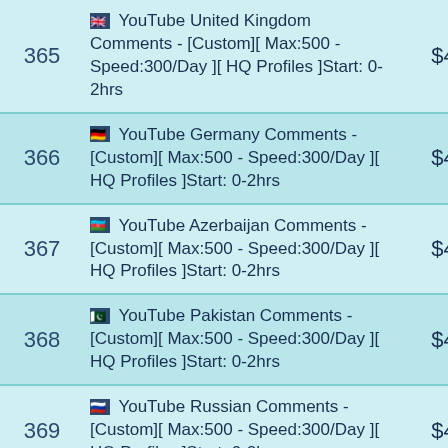| # | Description | Price |
| --- | --- | --- |
| 365 | 🇬🇧 YouTube United Kingdom Comments - [Custom][ Max:500 - Speed:300/Day ][ HQ Profiles ]Start: 0-2hrs | $40 |
| 366 | 🇩🇪 YouTube Germany Comments - [Custom][ Max:500 - Speed:300/Day ][ HQ Profiles ]Start: 0-2hrs | $40 |
| 367 | 🇦🇿 YouTube Azerbaijan Comments - [Custom][ Max:500 - Speed:300/Day ][ HQ Profiles ]Start: 0-2hrs | $40 |
| 368 | 🇵🇰 YouTube Pakistan Comments - [Custom][ Max:500 - Speed:300/Day ][ HQ Profiles ]Start: 0-2hrs | $40 |
| 369 | 🇷🇺 YouTube Russian Comments - [Custom][ Max:500 - Speed:300/Day ][ HQ Profiles ]Start: 0-2hrs | $40 |
| 370 | 🇫🇷 YouTube France Comments - [Custom][ Max:500 - Speed:300/Day ][ HQ Profiles ]Start: 0-2hrs | $40 |